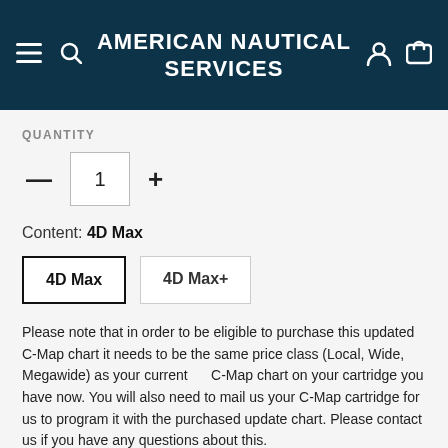AMERICAN NAUTICAL SERVICES
QUANTITY
1
Content: 4D Max
4D Max
4D Max+
Please note that in order to be eligible to purchase this updated C-Map chart it needs to be the same price class (Local, Wide, Megawide) as your current C-Map chart on your cartridge you have now. You will also need to mail us your C-Map cartridge for us to program it with the purchased update chart. Please contact us if you have any questions about this.
I acknowledge I will mail my C-Map cartridge to American